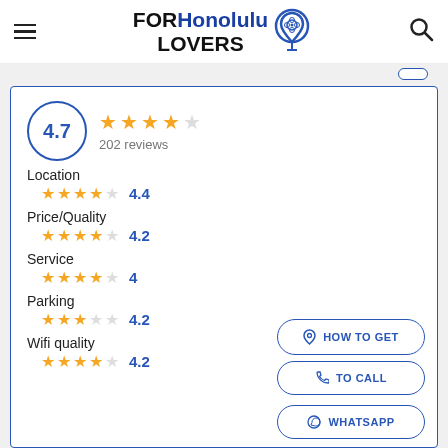[Figure (logo): FORHonolulu LOVERS logo with map pin icon]
4.7
202 reviews
Location
4.4
Price/Quality
4.2
Service
4
Parking
4.2
Wifi quality
4.2
HOW TO GET
TO CALL
WHATSAPP